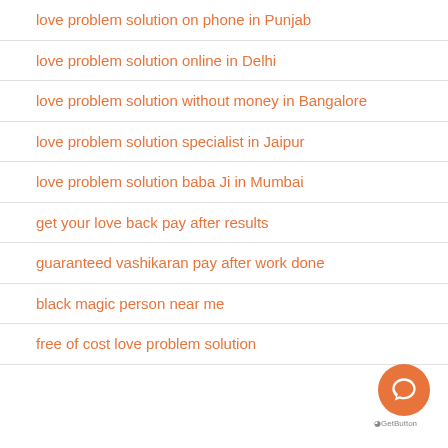love problem solution on phone in Punjab
love problem solution online in Delhi
love problem solution without money in Bangalore
love problem solution specialist in Jaipur
love problem solution baba Ji in Mumbai
get your love back pay after results
guaranteed vashikaran pay after work done
black magic person near me
free of cost love problem solution
[Figure (logo): GetButton chat widget button — orange circle with speech bubble icon, and 'GetButton' branding label below]